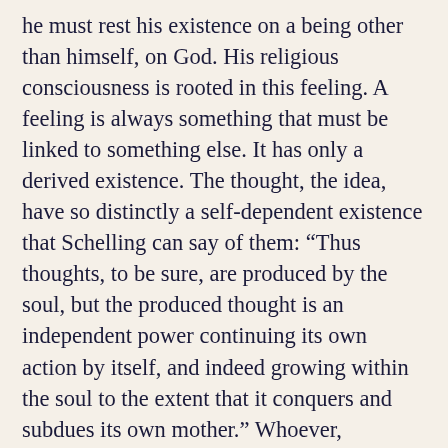he must rest his existence on a being other than himself, on God. His religious consciousness is rooted in this feeling. A feeling is always something that must be linked to something else. It has only a derived existence. The thought, the idea, have so distinctly a self-dependent existence that Schelling can say of them: “Thus thoughts, to be sure, are produced by the soul, but the produced thought is an independent power continuing its own action by itself, and indeed growing within the soul to the extent that it conquers and subdues its own mother.” Whoever, therefore, attempts to grasp the supreme being in the form of thoughts, receives this being and holds it as a self-dependent power within himself. This power can then be followed by a feeling, just as the conception of a beautiful work of art is followed by a certain feeling of satisfaction. Schleiermacher, however, does not mean to seize the object of religion, but only the religious feeling. He leaves the object, God, entirely indefinite. Man feels himself as